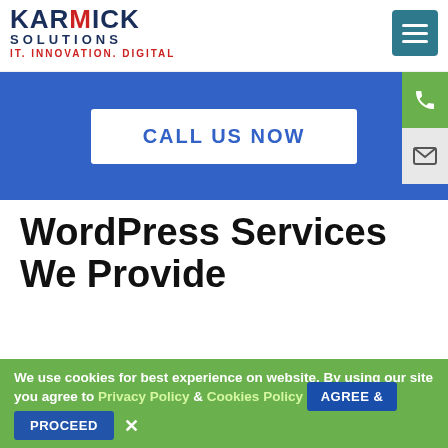KARMICK SOLUTIONS - IT. INNOVATION. DIGITAL
[Figure (screenshot): Blue banner with a white 'CALL US NOW' button, green phone icon on right, grey email icon below phone icon]
WordPress Services We Provide
WordPress Template Designing - We create beautiful, customizable, and functional WordPress templates with integrated SEO features so that you can easily make the
We use cookies for best experience on website. By using our site you agree to Privacy Policy & Cookies Policy AGREE & PROCEED ✕